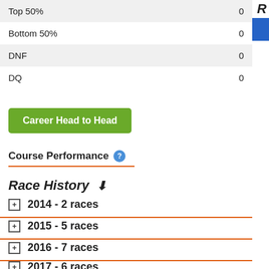|  |  |
| --- | --- |
| Top 50% | 0 |
| Bottom 50% | 0 |
| DNF | 0 |
| DQ | 0 |
Career Head to Head
Course Performance
Race History
2014 - 2 races
2015 - 5 races
2016 - 7 races
2017 - 6 races
2018 - 3